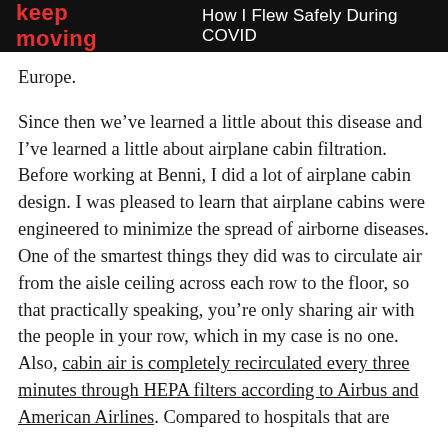keep moving   How I Flew Safely During COVID
Europe.
Since then we've learned a little about this disease and I've learned a little about airplane cabin filtration. Before working at Benni, I did a lot of airplane cabin design. I was pleased to learn that airplane cabins were engineered to minimize the spread of airborne diseases. One of the smartest things they did was to circulate air from the aisle ceiling across each row to the floor, so that practically speaking, you're only sharing air with the people in your row, which in my case is no one. Also, cabin air is completely recirculated every three minutes through HEPA filters according to Airbus and American Airlines. Compared to hospitals that are